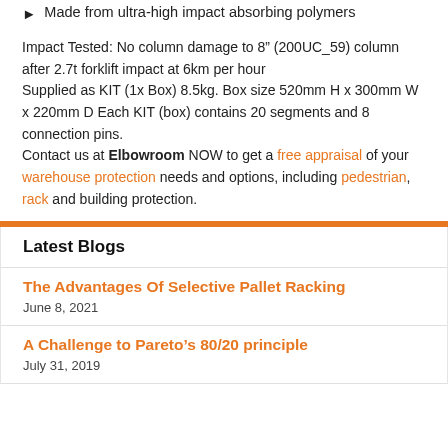Made from ultra-high impact absorbing polymers
Impact Tested: No column damage to 8" (200UC_59) column after 2.7t forklift impact at 6km per hour
Supplied as KIT (1x Box) 8.5kg. Box size 520mm H x 300mm W x 220mm D Each KIT (box) contains 20 segments and 8 connection pins.
Contact us at Elbowroom NOW to get a free appraisal of your warehouse protection needs and options, including pedestrian, rack and building protection.
Latest Blogs
The Advantages Of Selective Pallet Racking
June 8, 2021
A Challenge to Pareto's 80/20 principle
July 31, 2019